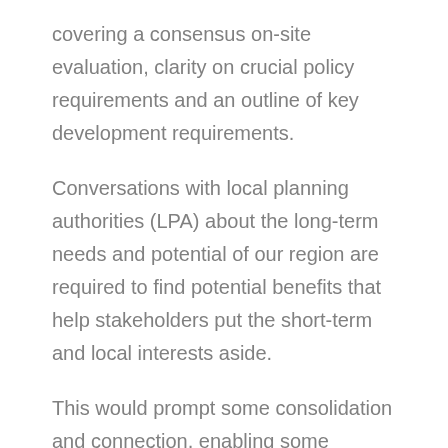covering a consensus on-site evaluation, clarity on crucial policy requirements and an outline of key development requirements.
Conversations with local planning authorities (LPA) about the long-term needs and potential of our region are required to find potential benefits that help stakeholders put the short-term and local interests aside.
This would prompt some consolidation and connection, enabling some lightweight work on the relatively small number of things that might make a major difference in identifying and exploiting an opportunity.